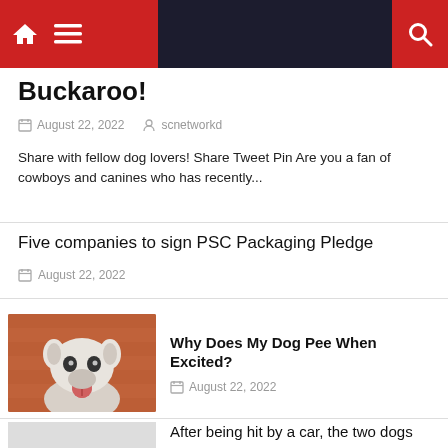Navigation bar with home and menu icons on left, search icon on right
Buckaroo!
August 22, 2022   scnetworkd
Share with fellow dog lovers! Share Tweet Pin Are you a fan of cowboys and canines who has recently...
Five companies to sign PSC Packaging Pledge
August 22, 2022
[Figure (photo): White French bulldog with tongue out, sitting against a reddish brick wall background]
Why Does My Dog Pee When Excited?
August 22, 2022
After being hit by a car, the two dogs